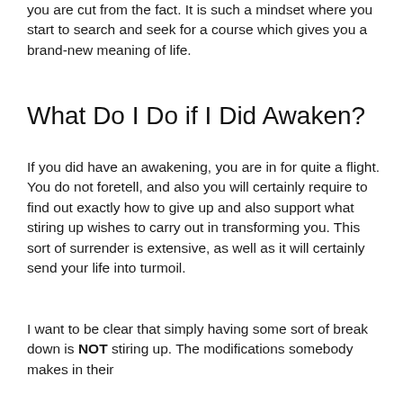you are cut from the fact. It is such a mindset where you start to search and seek for a course which gives you a brand-new meaning of life.
What Do I Do if I Did Awaken?
If you did have an awakening, you are in for quite a flight. You do not foretell, and also you will certainly require to find out exactly how to give up and also support what stiring up wishes to carry out in transforming you. This sort of surrender is extensive, as well as it will certainly send your life into turmoil.
I want to be clear that simply having some sort of break down is NOT stiring up. The modifications somebody makes in their